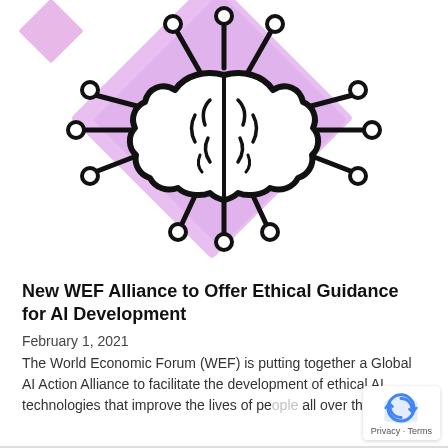[Figure (illustration): AI brain illustration: a stylized brain icon with circuit board lines radiating outward, on overlapping pink/lavender diamond shapes background. A small pink diamond accent appears in top-left. The brain has lines ending in circles and connectors suggesting a neural network or AI concept.]
New WEF Alliance to Offer Ethical Guidance for AI Development
February 1, 2021
The World Economic Forum (WEF) is putting together a Global AI Action Alliance to facilitate the development of ethical AI technologies that improve the lives of people all over the [...]